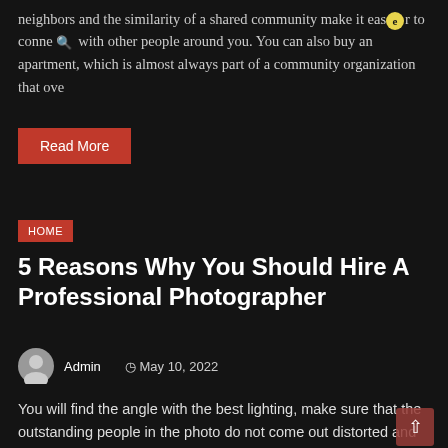neighbors and the similarity of a shared community make it easier to connect with other people around you. You can also buy an apartment, which is almost always part of a community organization that ove
Read More
HOME
5 Reasons Why You Should Hire A Professional Photographer
Admin   May 10, 2022
You will find the angle with the best lighting, make sure that the outstanding people in the photo do not come out distorted and make the photo expertly. Moreover, they do all these things in an instant, without disturbing the course of the event. When you hire an event photographer, you can be sure that you will have the best memories of your event and